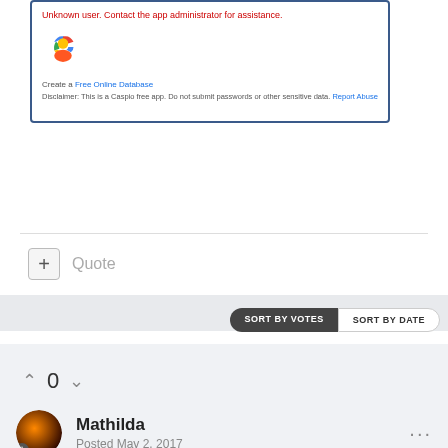[Figure (screenshot): Embedded form/app screenshot showing error message, Google logo, create database link, and disclaimer text inside a blue-bordered box]
Unknown user. Contact the app administrator for assistance.
Create a Free Online Database
Disclaimer: This is a Caspio free app. Do not submit passwords or other sensitive data. Report Abuse
Quote
SORT BY VOTES
SORT BY DATE
0
Mathilda
Posted May 2, 2017